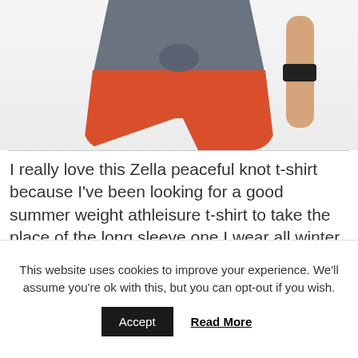[Figure (photo): Woman wearing a gray knotted athleisure t-shirt and orange/coral running shorts, shown from torso down with a fitness tracker on wrist.]
I really love this Zella peaceful knot t-shirt because I've been looking for a good summer weight athleisure t-shirt to take the place of the long sleeve one I wear all winter.
This website uses cookies to improve your experience. We'll assume you're ok with this, but you can opt-out if you wish. Accept Read More